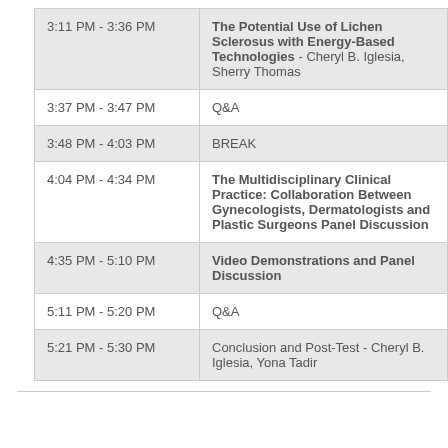| Time | Session |
| --- | --- |
| 3:11 PM - 3:36 PM | The Potential Use of Lichen Sclerosus with Energy-Based Technologies - Cheryl B. Iglesia, Sherry Thomas |
| 3:37 PM - 3:47 PM | Q&A |
| 3:48 PM - 4:03 PM | BREAK |
| 4:04 PM - 4:34 PM | The Multidisciplinary Clinical Practice: Collaboration Between Gynecologists, Dermatologists and Plastic Surgeons Panel Discussion |
| 4:35 PM - 5:10 PM | Video Demonstrations and Panel Discussion |
| 5:11 PM - 5:20 PM | Q&A |
| 5:21 PM - 5:30 PM | Conclusion and Post-Test - Cheryl B. Iglesia, Yona Tadir |